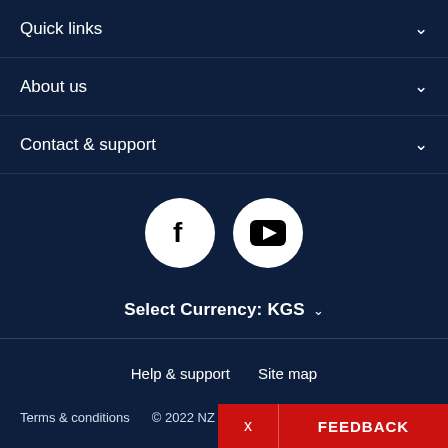Quick links
About us
Contact & support
[Figure (illustration): Social media icons: Facebook and YouTube, white circles on dark navy background]
Select Currency: KGS
Help & support    Site map
Terms & conditions    © 2022 NZ Post Collectables
x   FEEDBACK